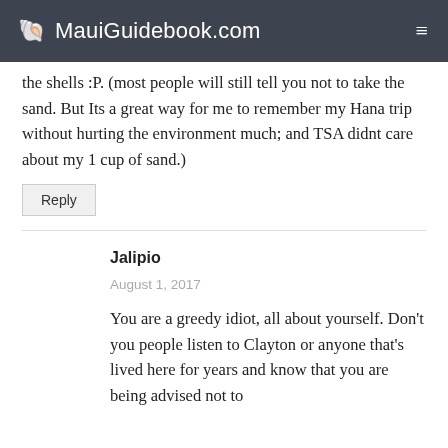MauiGuidebook.com
the shells :P. (most people will still tell you not to take the sand. But Its a great way for me to remember my Hana trip without hurting the environment much; and TSA didnt care about my 1 cup of sand.)
Reply
Jalipio
August 1, 2017
You are a greedy idiot, all about yourself. Don't you people listen to Clayton or anyone that's lived here for years and know that you are being advised not to